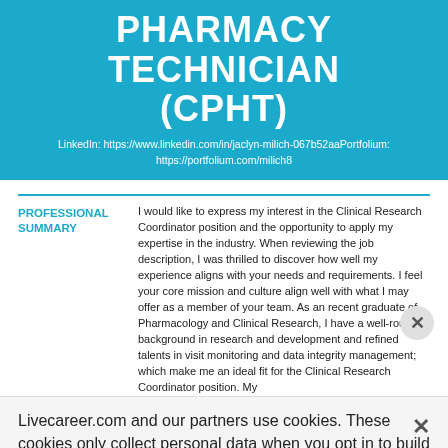PHARMACY TECHNICIAN (CPHT)
LinkedIn: https://www.linkedin.com/in/jaclyn-milich-067b52aaPortfolium: https://portfolium.com/milich8
PROFESSIONAL SUMMARY
I would like to express my interest in the Clinical Research Coordinator position and the opportunity to apply my expertise in the industry. When reviewing the job description, I was thrilled to discover how well my experience aligns with your needs and requirements. I feel your core mission and culture align well with what I may offer as a member of your team. As an recent graduate of Pharmacology and Clinical Research, I have a well-rounded background in research and development and refined talents in visit monitoring and data integrity management; which make me an ideal fit for the Clinical Research Coordinator position. My
Livecareer.com and our partners use cookies. These cookies only collect personal data when you opt in to build a resume and cover letter. Learn more